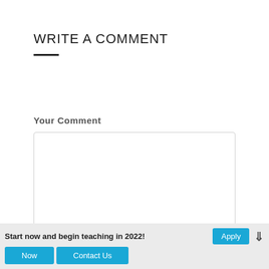WRITE A COMMENT
Your Comment
[Figure (other): Empty comment text area input box with light grey border and rounded corners]
Start now and begin teaching in 2022!  Apply  Now  Contact Us